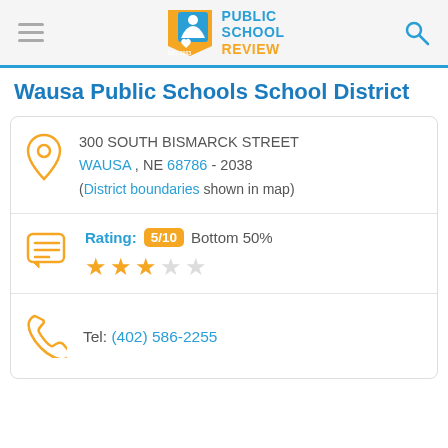Public School Review - Est. 2003
Wausa Public Schools School District
300 SOUTH BISMARCK STREET
WAUSA , NE 68786 - 2038
(District boundaries shown in map)
Rating: 5/10 Bottom 50%
Tel: (402) 586-2255